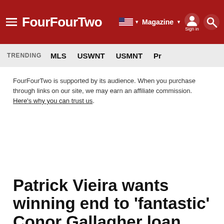FourFourTwo — Navigation bar with logo, Magazine, Sign in, Search
TRENDING  MLS  USWNT  USMNT  Pr...
FourFourTwo is supported by its audience. When you purchase through links on our site, we may earn an affiliate commission. Here's why you can trust us.
Patrick Vieira wants winning end to 'fantastic' Conor Gallagher loan